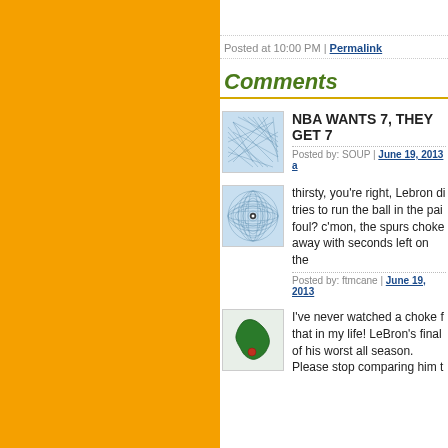Posted at 10:00 PM | Permalink
Comments
[Figure (illustration): User avatar with geometric pattern (spirograph-like lines on light blue background)]
NBA WANTS 7, THEY GET 7
Posted by: SOUP | June 19, 2013 a
[Figure (illustration): User avatar with circular spirograph pattern on light blue background]
thirsty, you're right, Lebron di tries to run the ball in the pai foul? c'mon, the spurs choke away with seconds left on the
Posted by: ftmcane | June 19, 2013
[Figure (illustration): User avatar showing Florida state map silhouette in green on light background]
I've never watched a choke f that in my life! LeBron's final of his worst all season.
Please stop comparing him t